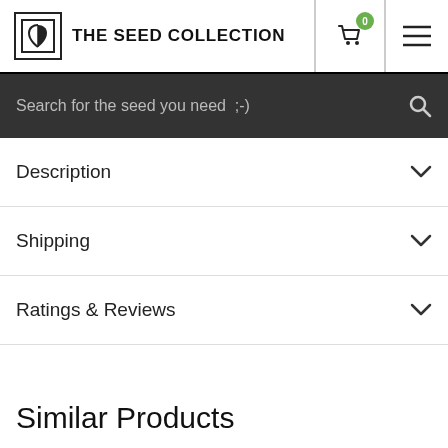THE SEED COLLECTION
Search for the seed you need ;-)
Description
Shipping
Ratings & Reviews
Similar Products